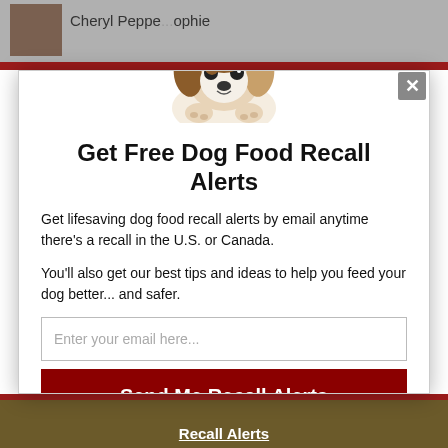[Figure (screenshot): A modal popup dialog on a website showing a dog food recall alert signup form. Behind the modal is a gray header bar with 'Cheryl Pepp... ophie' text and a photo thumbnail, a red horizontal bar, and a dark olive/gold footer bar with 'Recall Alerts' text. The modal features a puppy (Jack Russell terrier) image peeking over the top, a large bold title, descriptive text, an email input field, and a red submit button.]
Get Free Dog Food Recall Alerts
Get lifesaving dog food recall alerts by email anytime there's a recall in the U.S. or Canada.
You'll also get our best tips and ideas to help you feed your dog better... and safer.
Enter your email here...
Send Me Recall Alerts
No spam ever. Unsubscribe anytime.